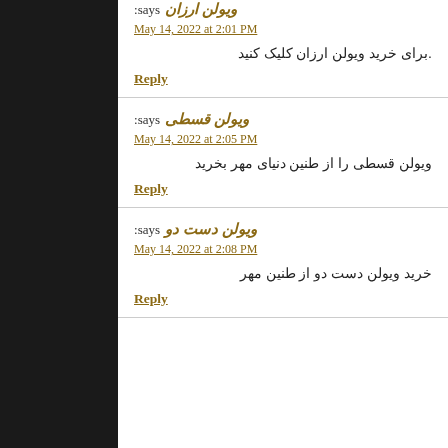ویولن ارزان says: May 14, 2022 at 2:01 PM
.برای خرید ویولن ارزان کلیک کنید
Reply
ویولن قسطی says: May 14, 2022 at 2:05 PM
ویولن قسطی را از طنین دنیای مهر بخرید
Reply
ویولن دست دو says: May 14, 2022 at 2:08 PM
خرید ویولن دست دو از طنین مهر
Reply